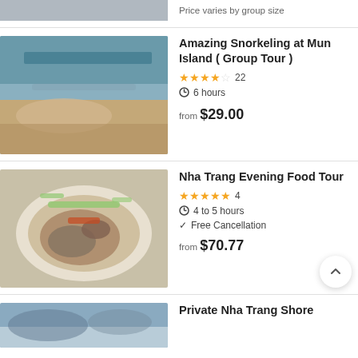Price varies by group size
Amazing Snorkeling at Mun Island ( Group Tour )
★★★★½ 22
6 hours
from $29.00
Nha Trang Evening Food Tour
★★★★★ 4
4 to 5 hours
Free Cancellation
from $70.77
Private Nha Trang Shore